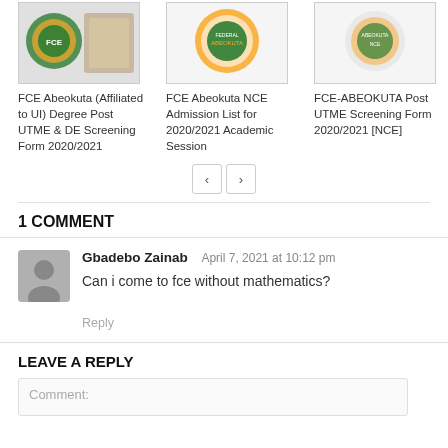[Figure (illustration): FCE Abeokuta logo/badge image thumbnail]
[Figure (illustration): FCE Abeokuta NCE badge/logo image thumbnail]
[Figure (illustration): FCE-ABEOKUTA badge/logo image thumbnail]
FCE Abeokuta (Affiliated to UI) Degree Post UTME & DE Screening Form 2020/2021
FCE Abeokuta NCE Admission List for 2020/2021 Academic Session
FCE-ABEOKUTA Post UTME Screening Form 2020/2021 [NCE]
1 COMMENT
Gbadebo Zainab  April 7, 2021 at 10:12 pm
Can i come to fce without mathematics?
Reply
LEAVE A REPLY
Comment: